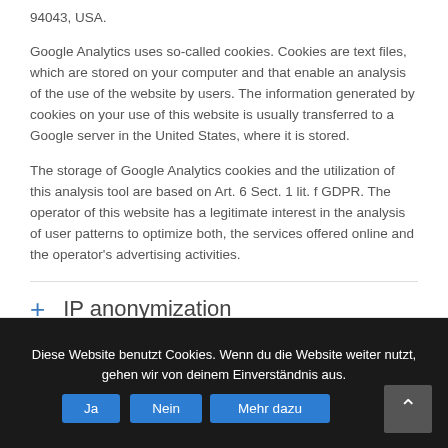94043, USA.
Google Analytics uses so-called cookies. Cookies are text files, which are stored on your computer and that enable an analysis of the use of the website by users. The information generated by cookies on your use of this website is usually transferred to a Google server in the United States, where it is stored.
The storage of Google Analytics cookies and the utilization of this analysis tool are based on Art. 6 Sect. 1 lit. f GDPR. The operator of this website has a legitimate interest in the analysis of user patterns to optimize both, the services offered online and the operator’s advertising activities.
+ IP anonymization
Diese Website benutzt Cookies. Wenn du die Website weiter nutzt, gehen wir von deinem Einverständnis aus.
Ja  Nein  Mehr dazu